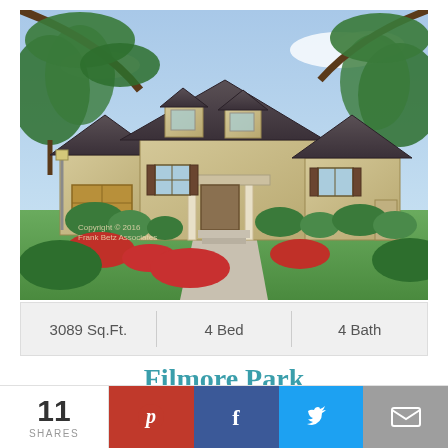[Figure (illustration): Color architectural illustration of the Filmore Park house plan — a stone craftsman / French country style home with dark shingled roofs, dormer windows, covered front porch, attached garage, and landscaped yard with flowering plants and trees.]
3089 Sq.Ft.   4 Bed   4 Bath
Filmore Park
11 SHARES
[Figure (infographic): Social share bar with Pinterest (red), Facebook (blue), Twitter (light blue), and Email (gray) buttons.]